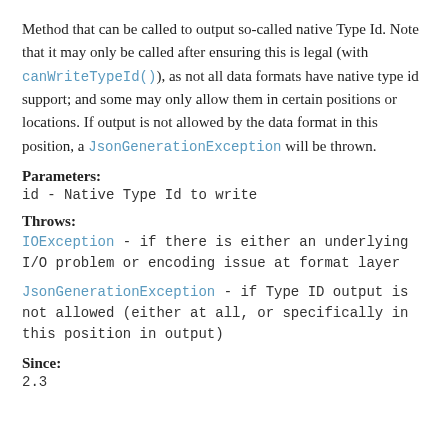Method that can be called to output so-called native Type Id. Note that it may only be called after ensuring this is legal (with canWriteTypeId()), as not all data formats have native type id support; and some may only allow them in certain positions or locations. If output is not allowed by the data format in this position, a JsonGenerationException will be thrown.
Parameters:
id - Native Type Id to write
Throws:
IOException - if there is either an underlying I/O problem or encoding issue at format layer
JsonGenerationException - if Type ID output is not allowed (either at all, or specifically in this position in output)
Since:
2.3